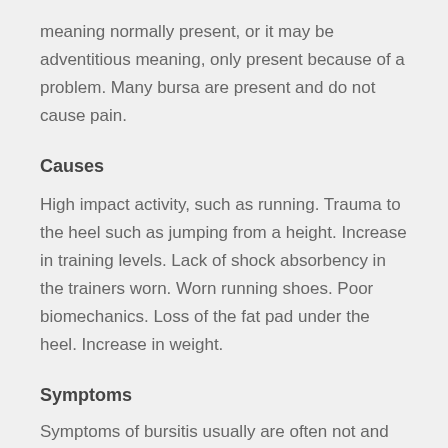meaning normally present, or it may be adventitious meaning, only present because of a problem. Many bursa are present and do not cause pain.
Causes
High impact activity, such as running. Trauma to the heel such as jumping from a height. Increase in training levels. Lack of shock absorbency in the trainers worn. Worn running shoes. Poor biomechanics. Loss of the fat pad under the heel. Increase in weight.
Symptoms
Symptoms of bursitis usually are often not and...